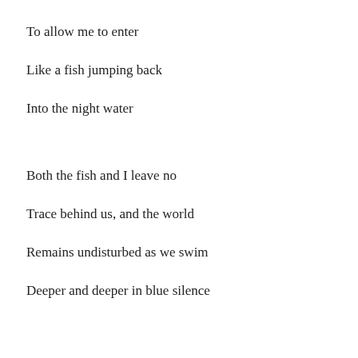To allow me to enter
Like a fish jumping back
Into the night water
Both the fish and I leave no
Trace behind us, and the world
Remains undisturbed as we swim
Deeper and deeper in blue silence